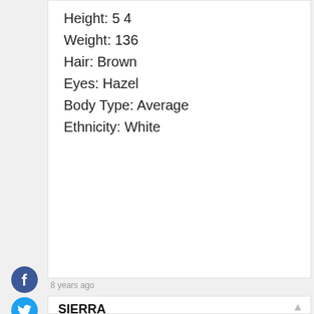Height: 5 4
Weight: 136
Hair: Brown
Eyes: Hazel
Body Type: Average
Ethnicity: White
8 years ago
SIERRA
Hi! My name is Sierra. I have short blonde hair, green eyes, and am a 17 year old who would be more than pleased to be chosen to act along side some of the greatest actors of our time. I know 17 may seem young, but I can assure you I